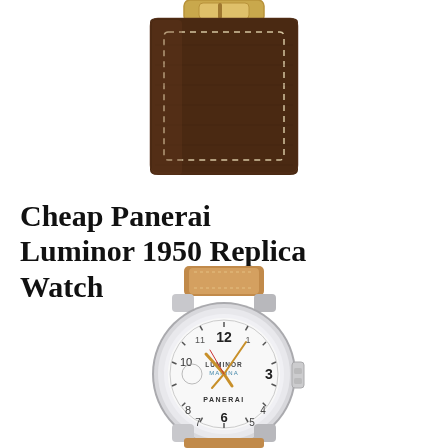[Figure (photo): Close-up of a dark brown leather watch strap with visible stitching and a gold/brass buckle clasp at the top, photographed against a white background.]
Cheap Panerai Luminor 1950 Replica Watches
[Figure (photo): Panerai Luminor Marina watch with a round stainless steel case, white dial showing Arabic numerals (12, 3, 6, 8, 10 visible), LUMINOR MARINA and PANERAI text on dial, gold-toned hands, and a tan/brown leather strap. The watch features a crown-protecting lever on the right side.]